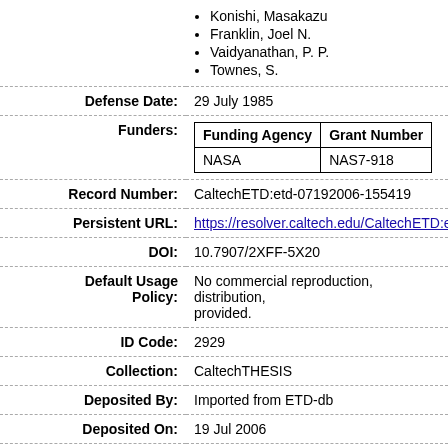Konishi, Masakazu
Franklin, Joel N.
Vaidyanathan, P. P.
Townes, S.
| Defense Date: | 29 July 1985 |
| Funders: | [Funding Agency table: NASA / NAS7-918] |
| Record Number: | CaltechETD:etd-07192006-155419 |
| Persistent URL: | https://resolver.caltech.edu/CaltechETD:e |
| DOI: | 10.7907/2XFF-5X20 |
| Default Usage Policy: | No commercial reproduction, distribution, provided. |
| ID Code: | 2929 |
| Collection: | CaltechTHESIS |
| Deposited By: | Imported from ETD-db |
| Deposited On: | 19 Jul 2006 |
| Last Modified: | 18 May 2021 22:23 |
Thesis Files